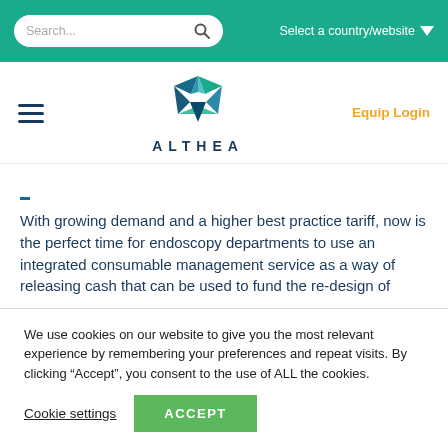Search... | Select a country/website
[Figure (logo): Althea company logo with star-like geometric emblem above the text ALTHEA]
Equip Login
With growing demand and a higher best practice tariff, now is the perfect time for endoscopy departments to use an integrated consumable management service as a way of releasing cash that can be used to fund the re-design of
We use cookies on our website to give you the most relevant experience by remembering your preferences and repeat visits. By clicking “Accept”, you consent to the use of ALL the cookies.
Cookie settings | ACCEPT